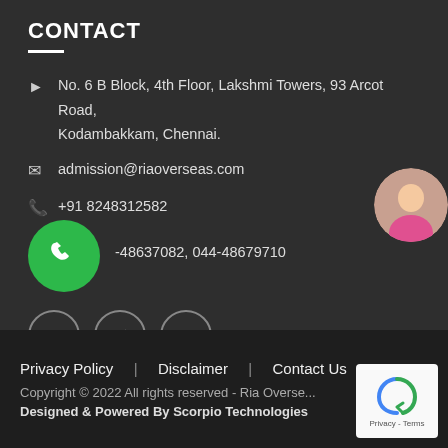CONTACT
No. 6 B Block, 4th Floor, Lakshmi Towers, 93 Arcot Road, Kodambakkam, Chennai.
admission@riaoverseas.com
+91 8248312582
-48637082, 044-48679710
[Figure (illustration): Green circular phone button icon overlay]
[Figure (photo): Circular photo of a woman in pink blazer]
[Figure (illustration): Social media icons: Facebook, Twitter, YouTube in grey circles]
Privacy Policy  |  Disclaimer  |  Contact Us
Copyright © 2022 All rights reserved - Ria Overseas
Designed & Powered By Scorpio Technologies